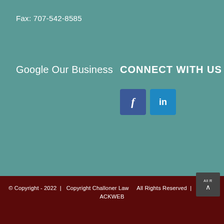Fax: 707-542-8585
Google Our Business
CONNECT WITH US
[Figure (other): Facebook icon - blue square with white italic 'f' letter]
[Figure (other): LinkedIn icon - light blue square with white 'in' text]
© Copyright - 2022  |  Copyright Challoner Law   All Rights Reserved  |  Built by ACKWEB